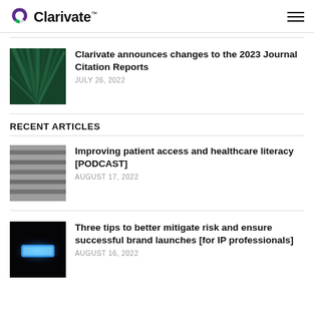Clarivate™
[Figure (photo): Green palm leaf close-up, dark tones]
Clarivate announces changes to the 2023 Journal Citation Reports
JULY 26, 2022
RECENT ARTICLES
[Figure (photo): Gray stacked ridged abstract texture, grayscale]
Improving patient access and healthcare literacy [PODCAST]
AUGUST 17, 2022
[Figure (photo): Glowing blue neon rectangle on black background]
Three tips to better mitigate risk and ensure successful brand launches [for IP professionals]
AUGUST 16, 2022